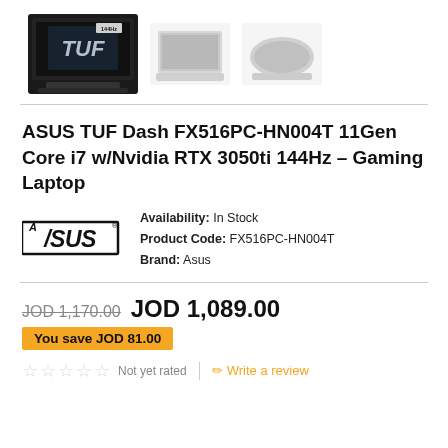[Figure (photo): Three laptop images: main front view of ASUS TUF gaming laptop with logo on black chassis, and two side/back angle views in silver]
ASUS TUF Dash FX516PC-HN004T 11Gen Core i7 w/Nvidia RTX 3050ti 144Hz – Gaming Laptop
[Figure (logo): ASUS brand logo in italic bold font within a rectangle border with registered trademark symbol]
Availability: In Stock
Product Code: FX516PC-HN004T
Brand: Asus
JOD 1,170.00  JOD 1,089.00
You save JOD 81.00
Not yet rated  Write a review